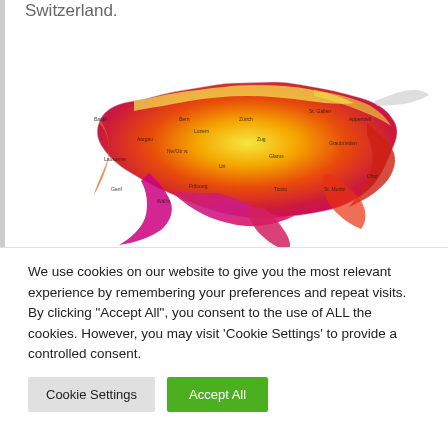Switzerland.
[Figure (map): Choropleth heat map of Switzerland showing regional variation by color gradient from yellow (north/central) through orange and red to magenta/pink (south), with canton labels and geographic features visible.]
We use cookies on our website to give you the most relevant experience by remembering your preferences and repeat visits. By clicking "Accept All", you consent to the use of ALL the cookies. However, you may visit 'Cookie Settings' to provide a controlled consent.
Cookie Settings
Accept All